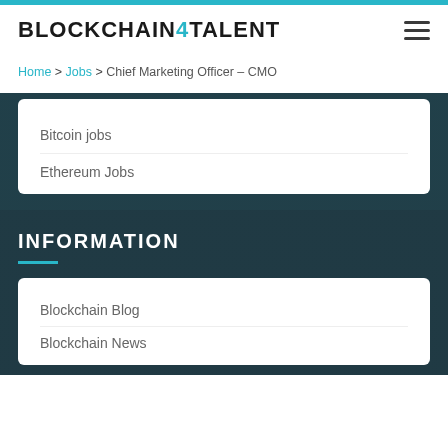[Figure (logo): Blockchain4Talent logo with '4' in cyan/teal color]
Home > Jobs > Chief Marketing Officer – CMO
Bitcoin jobs
Ethereum Jobs
INFORMATION
Blockchain Blog
Blockchain News